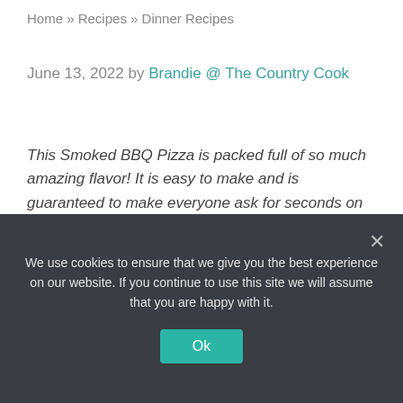Home » Recipes » Dinner Recipes
June 13, 2022 by Brandie @ The Country Cook
This Smoked BBQ Pizza is packed full of so much amazing flavor! It is easy to make and is guaranteed to make everyone ask for seconds on pizza night!
A DELICIOUS SMOKED PIZZA RECIPE
We use cookies to ensure that we give you the best experience on our website. If you continue to use this site we will assume that you are happy with it.